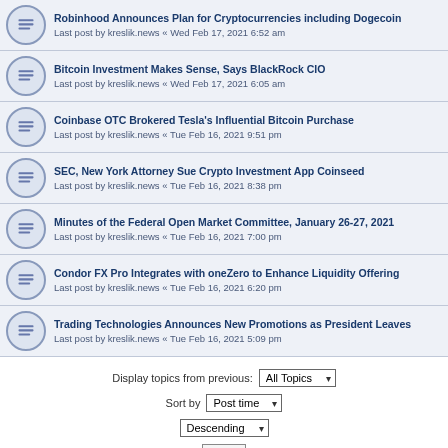Robinhood Announces Plan for Cryptocurrencies including Dogecoin
Last post by kreslik.news « Wed Feb 17, 2021 6:52 am
Bitcoin Investment Makes Sense, Says BlackRock CIO
Last post by kreslik.news « Wed Feb 17, 2021 6:05 am
Coinbase OTC Brokered Tesla's Influential Bitcoin Purchase
Last post by kreslik.news « Tue Feb 16, 2021 9:51 pm
SEC, New York Attorney Sue Crypto Investment App Coinseed
Last post by kreslik.news « Tue Feb 16, 2021 8:38 pm
Minutes of the Federal Open Market Committee, January 26-27, 2021
Last post by kreslik.news « Tue Feb 16, 2021 7:00 pm
Condor FX Pro Integrates with oneZero to Enhance Liquidity Offering
Last post by kreslik.news « Tue Feb 16, 2021 6:20 pm
Trading Technologies Announces New Promotions as President Leaves
Last post by kreslik.news « Tue Feb 16, 2021 5:09 pm
Display topics from previous: All Topics
Sort by Post time
Descending
Go
New Topic ✳